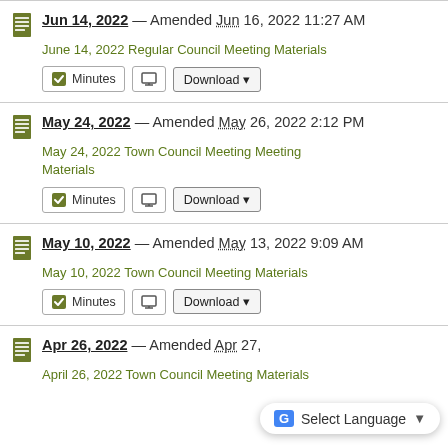Jun 14, 2022 — Amended Jun 16, 2022 11:27 AM
June 14, 2022 Regular Council Meeting Materials
Minutes | Download
May 24, 2022 — Amended May 26, 2022 2:12 PM
May 24, 2022 Town Council Meeting Meeting Materials
Minutes | Download
May 10, 2022 — Amended May 13, 2022 9:09 AM
May 10, 2022 Town Council Meeting Materials
Minutes | Download
Apr 26, 2022 — Amended Apr 27, ...
April 26, 2022 Town Council Meeting Materials